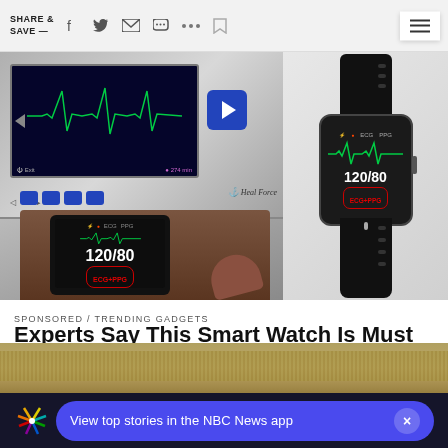SHARE & SAVE —
[Figure (photo): Left: ECG/Holter monitor device showing heart rate waveform on screen with 274 min reading and Heal Force branding, with a wrist-worn ECG+PPG smartband showing 120/80 blood pressure reading on a person's wrist. Right: A black smartwatch/fitness band showing ECG+PPG and 120/80 blood pressure display on its screen, product shot on white background.]
SPONSORED / TRENDING GADGETS
Experts Say This Smart Watch Is Must For Seniors
[Figure (screenshot): NBC News app banner at the bottom showing NBC peacock logo, blue pill-shaped button reading 'View top stories in the NBC News app' with an X close button, over a partial image of a person outdoors.]